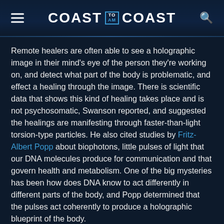COAST TO AM COAST
Remote healers are often able to see a holographic image in their mind's eye of the person they're working on, and detect what part of the body is problematic, and effect a healing through the image. There is scientific data that shows this kind of healing takes place and is not psychosomatic, Swanson reported, and suggested the healings are manifesting through faster-than-light torsion-type particles. He also cited studies by Fritz-Albert Popp about biophotons, little pulses of light that our DNA molecules produce for communication and that govern health and metabolism. One of the big mysteries has been how does DNA know to act differently in different parts of the body, and Popp determined that the pulses act coherently to produce a holographic blueprint of the body.
Swanson visited crop circles in England, and found they